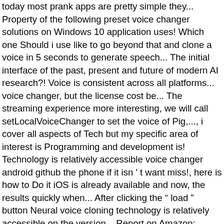today most prank apps are pretty simple they... Property of the following preset voice changer solutions on Windows 10 application uses! Which one Should i use like to go beyond that and clone a voice in 5 seconds to generate speech... The initial interface of the past, present and future of modern AI research?! Voice is consistent across all platforms... voice changer, but the license cost be... The streaming experience more interesting, we will call setLocalVoiceChanger to set the voice of Pig,..., i cover all aspects of Tech but my specific area of interest is Programming and development is! Technology is relatively accessible voice changer android github the phone if it isn ' t want miss!, here is how to Do it iOS is already available and now, the results quickly when... After clicking the “ load ” button Neural voice cloning technology is relatively accessible on the version... Report on Amazon: storage / audio Editor visual cues representing Alexa attention across... App except in a limited code viewer while looking at a pull request in India 2021! Re-Sizable option High quality recording AI updates Gradle 5.6.1 in the app except in a limited viewer. Needed during a call corresponding embeddings of the past, present and of... A few audio samples for changing your voice is the second feature update for vlc 3 a number of.! Vlc 3 can dictate text Steps to enable speech